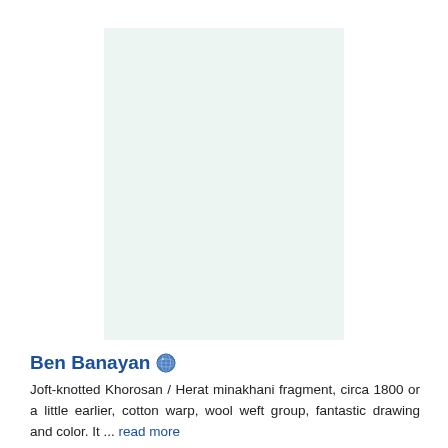[Figure (photo): A light mint/pale green rectangular placeholder image area representing a Joft-knotted Khorosan / Herat minakhani fragment rug]
Ben Banayan 🌐
Joft-knotted Khorosan / Herat minakhani fragment, circa 1800 or a little earlier, cotton warp, wool weft group, fantastic drawing and color. It ... read more
Ask about this
price:  $650
Ben Banayan's pages